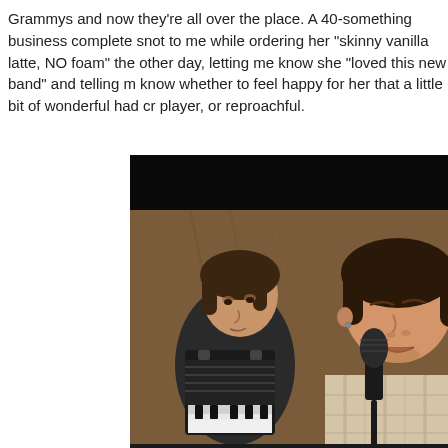Grammys and now they're all over the place. A 40-something business woman was a complete snot to me while ordering her "skinny vanilla latte, NO foam" at the coffee shop the other day, letting me know she "loved this new band" and telling me their name. I didn't know whether to feel happy for her that a little bit of wonderful had crept into her CD player, or reproachful.
[Figure (photo): Two musicians performing: one in the background playing an accordion, and one in the foreground singing into a microphone with eyes closed, wearing a plaid shirt.]